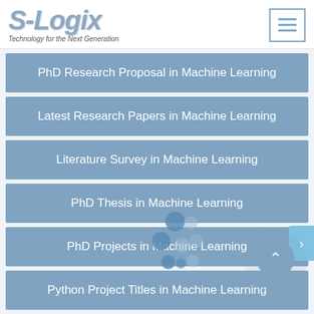S-Logix — Technology for the Next Generation
PhD Research Proposal in Machine Learning
Latest Research Papers in Machine Learning
Literature Survey in Machine Learning
PhD Thesis in Machine Learning
PhD Projects in Machine Learning
Python Project Titles in Machine Learning